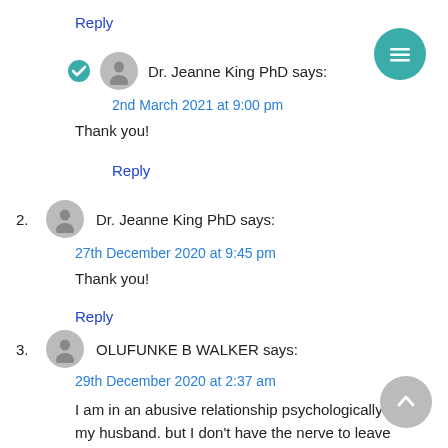Reply
Dr. Jeanne King PhD says:
2nd March 2021 at 9:00 pm
Thank you!
Reply
2. Dr. Jeanne King PhD says:
27th December 2020 at 9:45 pm
Thank you!
Reply
3. OLUFUNKE B WALKER says:
29th December 2020 at 2:37 am
I am in an abusive relationship psychologically by my husband. but I don't have the nerve to leave because I don't know how I will survive without